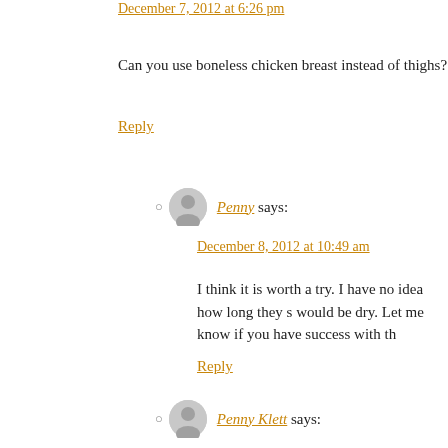December 7, 2012 at 6:26 pm
Can you use boneless chicken breast instead of thighs?
Reply
Penny says:
December 8, 2012 at 10:49 am
I think it is worth a try. I have no idea how long they s would be dry. Let me know if you have success with th
Reply
Penny Klett says:
December 23, 2012 at 10:38 am
I haven't tried it, but I think it would be fine.
Reply